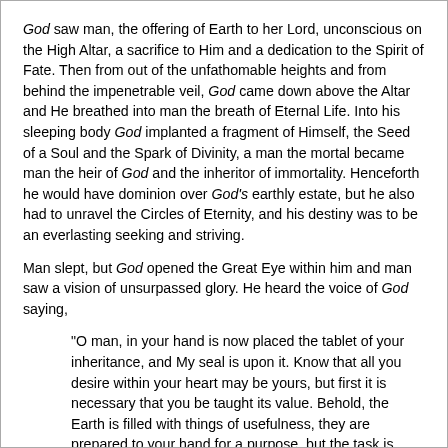God saw man, the offering of Earth to her Lord, unconscious on the High Altar, a sacrifice to Him and a dedication to the Spirit of Fate. Then from out of the unfathomable heights and from behind the impenetrable veil, God came down above the Altar and He breathed into man the breath of Eternal Life. Into his sleeping body God implanted a fragment of Himself, the Seed of a Soul and the Spark of Divinity, a man the mortal became man the heir of God and the inheritor of immortality. Henceforth he would have dominion over God's earthly estate, but he also had to unravel the Circles of Eternity, and his destiny was to be an everlasting seeking and striving.
Man slept, but God opened the Great Eye within him and man saw a vision of unsurpassed glory. He heard the voice of God saying,
"O man, in your hand is now placed the tablet of your inheritance, and My seal is upon it. Know that all you desire within your heart may be yours, but first it is necessary that you be taught its value. Behold, the Earth is filled with things of usefulness, they are prepared to your hand for a purpose, but the task is upon you to seek them out and learn their use. This is the tuition for the management of your inheritance."
"What you know to be good, seek for and it shall be found. You may plumb the seas and pluck the stars. You may live in everlasting glory and savour eternal delights. Above and below and all about there is nothing beyond your reach; all, with one exception, is yours to attain". Then God laid His hand upon man, saying, "Now you